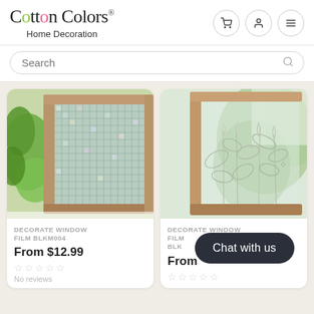Cotton Colors® Home Decoration
Search
[Figure (screenshot): Product card: Decorate Window Film BLKM004 showing mosaic/grid pattern window film with wood frame and green plants in background. Price: From $12.99. No reviews.]
DECORATE WINDOW FILM BLKM004
From $12.99
No reviews
[Figure (screenshot): Product card: Decorate Window Film BLK... showing floral/botanical frosted window film with wood frame and green plants in background. Price: From $...]
DECORATE WINDOW FILM BLK...
From
Chat with us